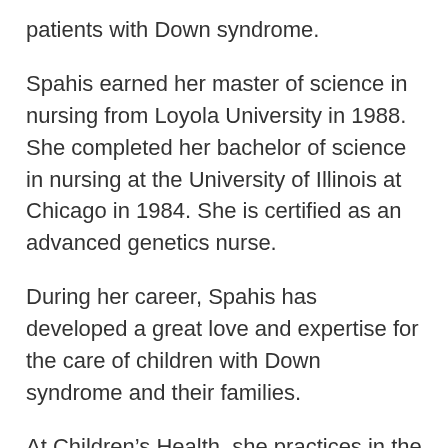patients with Down syndrome.
Spahis earned her master of science in nursing from Loyola University in 1988. She completed her bachelor of science in nursing at the University of Illinois at Chicago in 1984. She is certified as an advanced genetics nurse.
During her career, Spahis has developed a great love and expertise for the care of children with Down syndrome and their families.
At Children’s Health, she practices in the department of Pediatric Genetics. She obtains family histories and physical exams, orders tests and reports lab